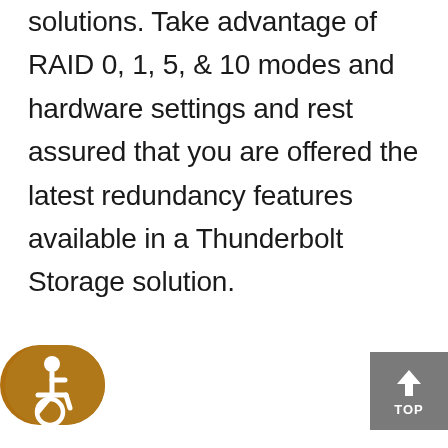solutions. Take advantage of RAID 0, 1, 5, & 10 modes and hardware settings and rest assured that you are offered the latest redundancy features available in a Thunderbolt Storage solution.
[Figure (illustration): Accessibility icon: white wheelchair user symbol on a brown/amber rounded rectangle background]
[Figure (other): Gray square button with an upward arrow and the word TOP, used as a scroll-to-top button]